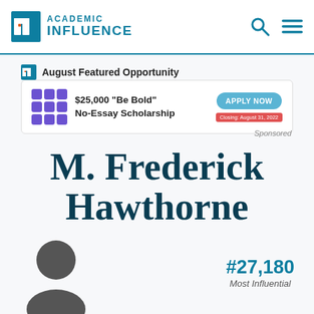Academic Influence
August Featured Opportunity
[Figure (infographic): $25,000 "Be Bold" No-Essay Scholarship advertisement with Apply Now button and Closing: August 31, 2022 badge]
Sponsored
M. Frederick Hawthorne
[Figure (illustration): Generic person silhouette avatar in dark grey]
#27,180
Most Influential